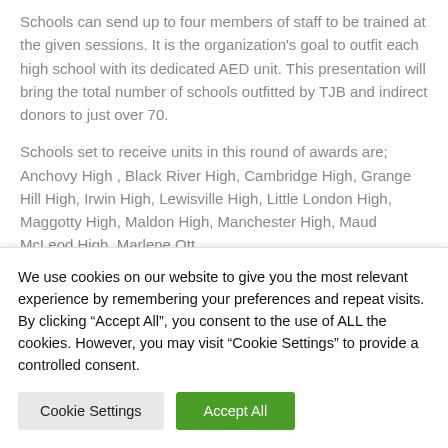Schools can send up to four members of staff to be trained at the given sessions. It is the organization's goal to outfit each high school with its dedicated AED unit. This presentation will bring the total number of schools outfitted by TJB and indirect donors to just over 70.
Schools set to receive units in this round of awards are; Anchovy High , Black River High, Cambridge High, Grange Hill High, Irwin High, Lewisville High, Little London High, Maggotty High, Maldon High, Manchester High, Maud McLeod High, Marlene Ott...
We use cookies on our website to give you the most relevant experience by remembering your preferences and repeat visits. By clicking “Accept All”, you consent to the use of ALL the cookies. However, you may visit “Cookie Settings” to provide a controlled consent.